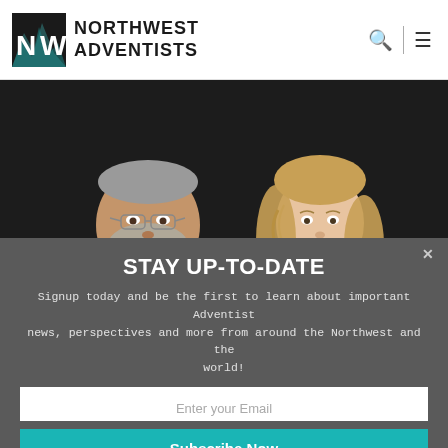[Figure (logo): Northwest Adventists logo with stylized NW mountain/tree graphic and text NORTHWEST ADVENTISTS]
[Figure (photo): Two professional headshots on dark background: older man with gray hair in dark suit with green tie on the left, young woman with long wavy blonde hair in dark blazer on the right]
STAY UP-TO-DATE
Signup today and be the first to learn about important Adventist news, perspectives and more from around the Northwest and the world!
Enter your Email
Subscribe Now